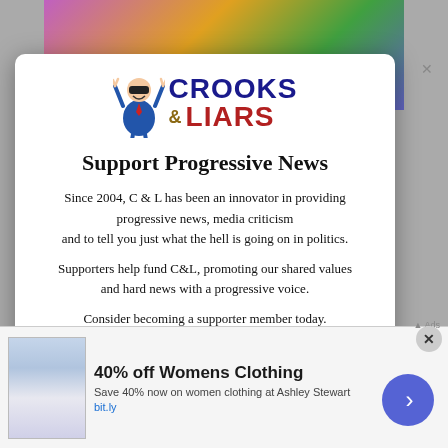[Figure (illustration): Crooks & Liars website modal popup with logo showing a cartoon figure with arms raised, red/blue logotype reading CROOKS & LIARS]
Support Progressive News
Since 2004, C & L has been an innovator in providing progressive news, media criticism and to tell you just what the hell is going on in politics.
Supporters help fund C&L, promoting our shared values and hard news with a progressive voice.
Consider becoming a supporter member today.
[Figure (screenshot): Advertisement bar at bottom: 40% off Womens Clothing - Save 40% now on women clothing at Ashley Stewart - bit.ly]
40% off Womens Clothing
Save 40% now on women clothing at Ashley Stewart
bit.ly